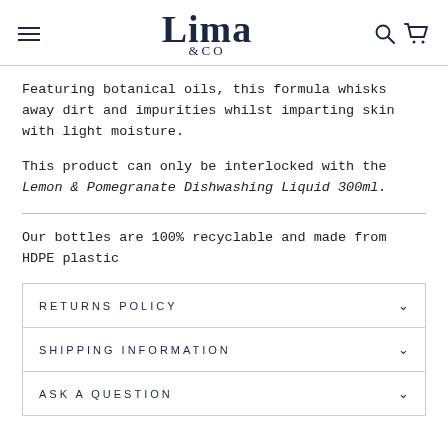Lima &CO
Featuring botanical oils, this formula whisks away dirt and impurities whilst imparting skin with light moisture.
This product can only be interlocked with the Lemon & Pomegranate Dishwashing Liquid 300ml.
Our bottles are 100% recyclable and made from HDPE plastic
RETURNS POLICY
SHIPPING INFORMATION
ASK A QUESTION